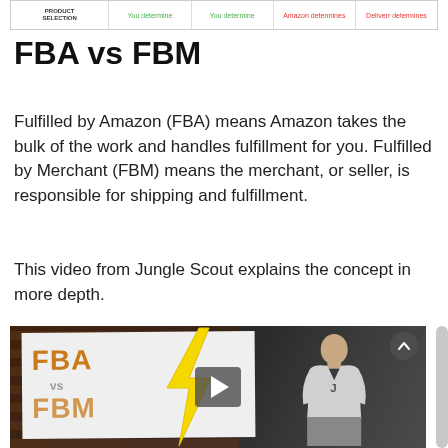[Figure (table-as-image): Partial table header row showing columns: PRODUCT SELECTION, You determine, You determine, Amazon determines, Deliverr determines]
FBA vs FBM
Fulfilled by Amazon (FBA) means Amazon takes the bulk of the work and handles fulfillment for you. Fulfilled by Merchant (FBM) means the merchant, or seller, is responsible for shipping and fulfillment.
This video from Jungle Scout explains the concept in more depth.
[Figure (screenshot): Video thumbnail showing a whiteboard with 'FBA vs FBM' text and a lightning bolt graphic, with a person standing to the right. A play button is overlaid in the center.]